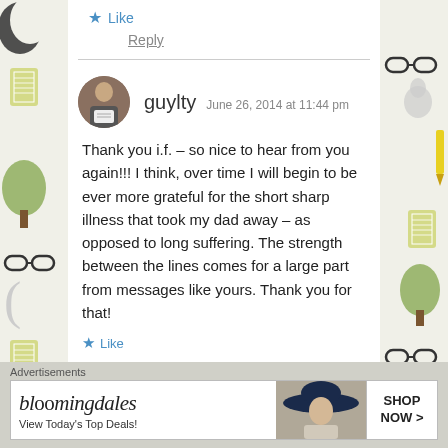★ Like
Reply
guylty  June 26, 2014 at 11:44 pm
Thank you i.f. – so nice to hear from you again!!! I think, over time I will begin to be ever more grateful for the short sharp illness that took my dad away – as opposed to long suffering. The strength between the lines comes for a large part from messages like yours. Thank you for that!
★ Like
Advertisements
[Figure (screenshot): Bloomingdale's advertisement banner: 'bloomingdales - View Today's Top Deals! SHOP NOW >']